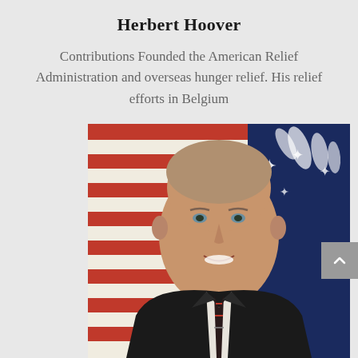Herbert Hoover
Contributions Founded the American Relief Administration and overseas hunger relief. His relief efforts in Belgium
[Figure (photo): Official portrait photograph of a smiling middle-aged man in a dark suit with a striped tie, in front of an American flag with red and white stripes and stars on blue background]